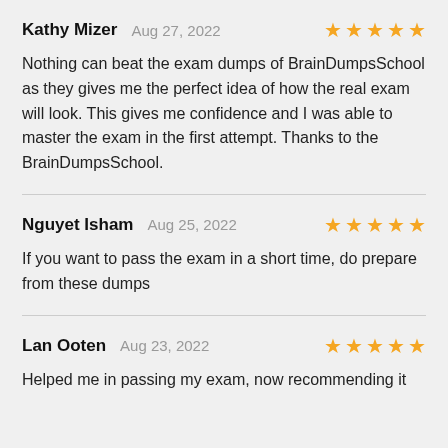Kathy Mizer   Aug 27, 2022   ★★★★★
Nothing can beat the exam dumps of BrainDumpsSchool as they gives me the perfect idea of how the real exam will look. This gives me confidence and I was able to master the exam in the first attempt. Thanks to the BrainDumpsSchool.
Nguyet Isham   Aug 25, 2022   ★★★★★
If you want to pass the exam in a short time, do prepare from these dumps
Lan Ooten   Aug 23, 2022   ★★★★★
Helped me in passing my exam, now recommending it